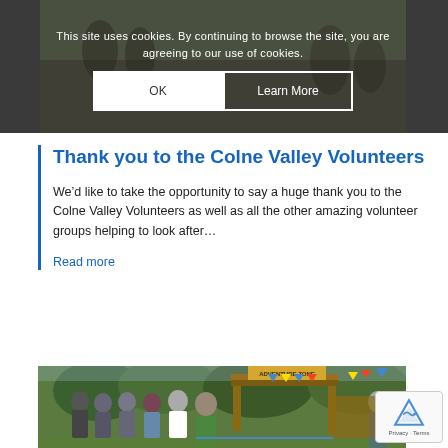This site uses cookies. By continuing to browse the site, you are agreeing to our use of cookies.
[Figure (screenshot): Cookie consent overlay with OK and Learn More buttons on dark background with photo of people]
Thank you to the Colne Valley Volunteers
We’d like to take the opportunity to say a huge thank you to the Colne Valley Volunteers as well as all the other amazing volunteer groups helping to look after…
Read more
[Figure (photo): Group of people standing at the Adventure Zone outdoor play area with colourful bunting, wooden structures visible]